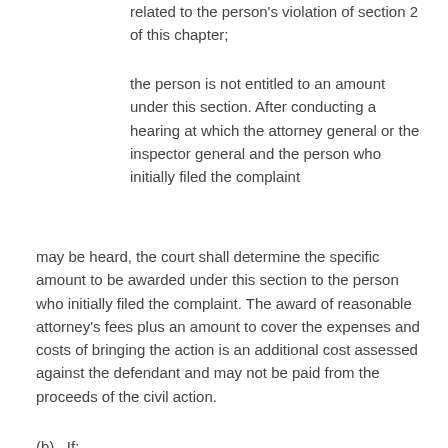related to the person's violation of section 2 of this chapter;
the person is not entitled to an amount under this section. After conducting a hearing at which the attorney general or the inspector general and the person who initially filed the complaint
may be heard, the court shall determine the specific amount to be awarded under this section to the person who initially filed the complaint. The award of reasonable attorney's fees plus an amount to cover the expenses and costs of bringing the action is an additional cost assessed against the defendant and may not be paid from the proceeds of the civil action.
(b)   If: